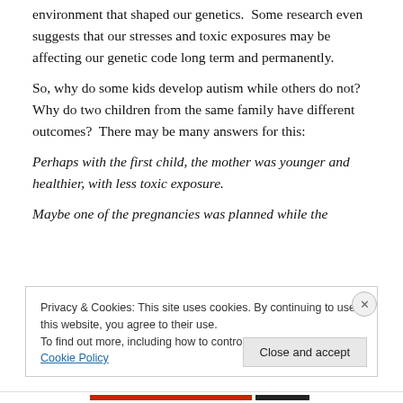environment that shaped our genetics.  Some research even suggests that our stresses and toxic exposures may be affecting our genetic code long term and permanently.
So, why do some kids develop autism while others do not?  Why do two children from the same family have different outcomes?  There may be many answers for this:
Perhaps with the first child, the mother was younger and healthier, with less toxic exposure.
Maybe one of the pregnancies was planned while the
Privacy & Cookies: This site uses cookies. By continuing to use this website, you agree to their use.
To find out more, including how to control cookies, see here: Cookie Policy